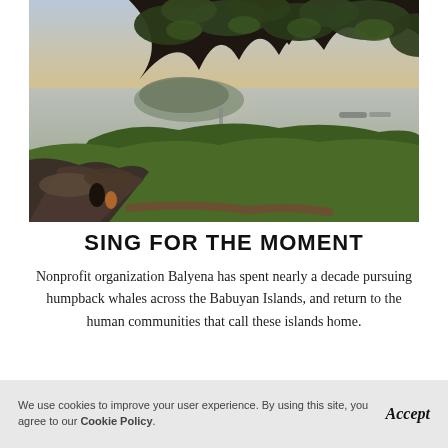[Figure (photo): Landscape photo of a coastal scene with tropical trees in foreground (dark silhouetted branches with leaves at top), rocky shoreline, green vegetation, a pier or dock extending into calm water, an island or hill visible in the background, and golden sunset light. Two people visible near rocks at lower left.]
SING FOR THE MOMENT
Nonprofit organization Balyena has spent nearly a decade pursuing humpback whales across the Babuyan Islands, and return to the human communities that call these islands home.
We use cookies to improve your user experience. By using this site, you agree to our Cookie Policy. Accept